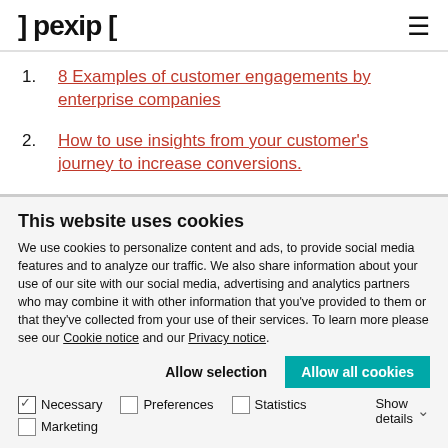] pexip [
1. 8 Examples of customer engagements by enterprise companies
2. How to use insights from your customer's journey to increase conversions.
This website uses cookies
We use cookies to personalize content and ads, to provide social media features and to analyze our traffic. We also share information about your use of our site with our social media, advertising and analytics partners who may combine it with other information that you've provided to them or that they've collected from your use of their services. To learn more please see our Cookie notice and our Privacy notice.
Allow selection  Allow all cookies
Necessary  Preferences  Statistics  Marketing  Show details